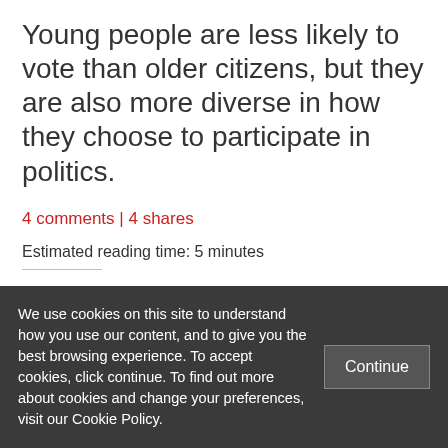Young people are less likely to vote than older citizens, but they are also more diverse in how they choose to participate in politics.
4 comments | 4 shares
Estimated reading time: 5 minutes
[Figure (infographic): Five red circular social sharing icons in a row: print, email, Facebook, Twitter, LinkedIn]
We use cookies on this site to understand how you use our content, and to give you the best browsing experience. To accept cookies, click continue. To find out more about cookies and change your preferences, visit our Cookie Policy.